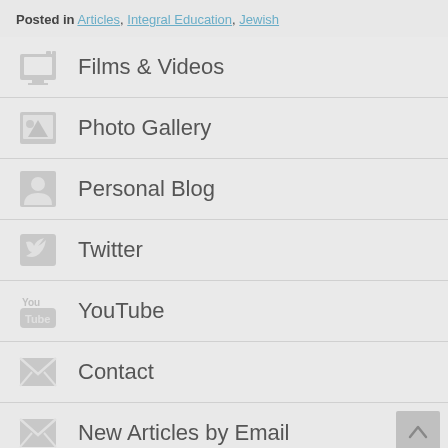Posted in Articles, Integral Education, Jewish
Films & Videos
Photo Gallery
Personal Blog
Twitter
YouTube
Contact
New Articles by Email
Donate